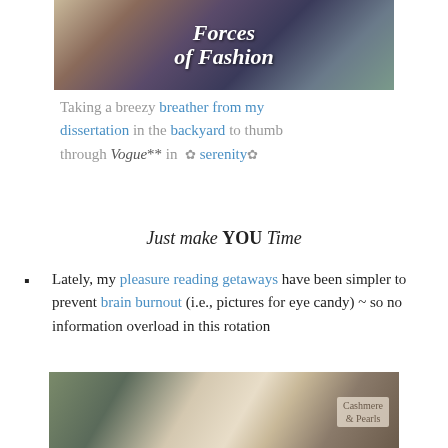[Figure (photo): Top portion of photo showing a book cover reading 'Forces of Fashion' with decorative background]
Taking a breezy breather from my dissertation in the backyard to thumb through Vogue** in ✿ serenity ✿
Just make YOU Time
Lately, my pleasure reading getaways have been simpler to prevent brain burnout (i.e., pictures for eye candy) ~ so no information overload in this rotation
[Figure (photo): Photo of stacked books including one titled with light-colored spine resting on a plaid fabric background]